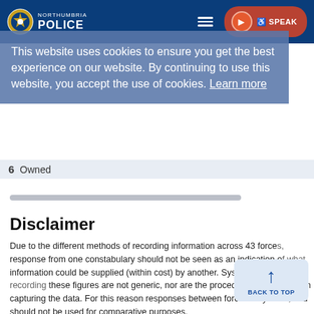Northumbria Police
This website uses cookies to ensure you get the best experience on our website. By continuing to use this website, you accept the use of cookies. Learn more
6  Owned
Disclaimer
Due to the different methods of recording information across 43 forces, response from one constabulary should not be seen as an indication of what information could be supplied (within cost) by another. Systems used for recording these figures are not generic, nor are the procedures used locally in capturing the data. For this reason responses between forces may differ, and should not be used for comparative purposes.